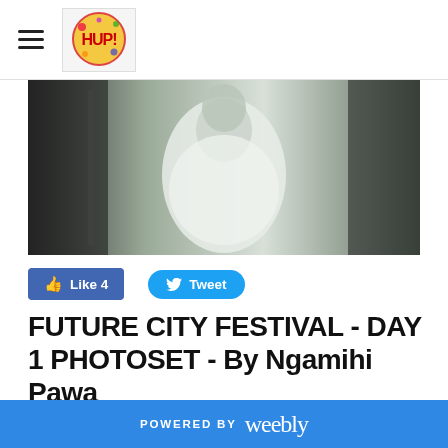HUP! (logo and hamburger menu)
[Figure (photo): Black and white photo of a person in a white garment, upper body visible against a dark background]
Like 4   Tweet
FUTURE CITY FESTIVAL - DAY 1 PHOTOSET - By Ngamihi Pawa
6/3/2017    1 Comment
[Figure (photo): Dark/black and white photo, bottom strip]
POWERED BY weebly